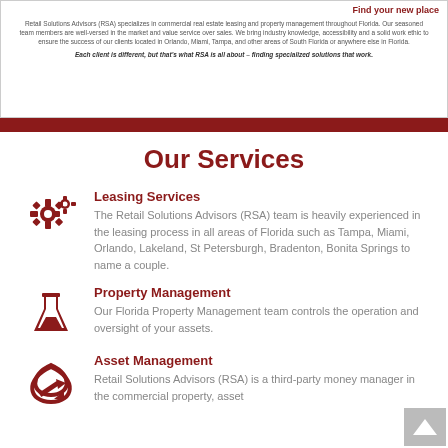Find your new place
Retail Solutions Advisors (RSA) specializes in commercial real estate leasing and property management throughout Florida. Our seasoned team members are well-versed in the market and value service over sales. We bring industry knowledge, accessibility and a solid work ethic to ensure the success of our clients located in Orlando, Miami, Tampa, and other areas of South Florida or anywhere else in Florida.
Each client is different, but that's what RSA is all about – finding specialized solutions that work.
Our Services
Leasing Services
The Retail Solutions Advisors (RSA) team is heavily experienced in the leasing process in all areas of Florida such as Tampa, Miami, Orlando, Lakeland, St Petersburgh, Bradenton, Bonita Springs to name a couple.
Property Management
Our Florida Property Management team controls the operation and oversight of your assets.
Asset Management
Retail Solutions Advisors (RSA) is a third-party money manager in the commercial property, asset...